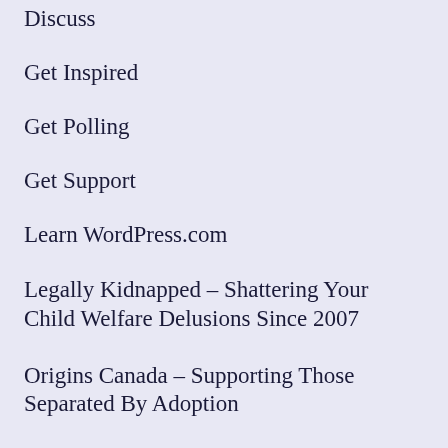Discuss
Get Inspired
Get Polling
Get Support
Learn WordPress.com
Legally Kidnapped – Shattering Your Child Welfare Delusions Since 2007
Origins Canada – Supporting Those Separated By Adoption
Origins International: Supporting People Separated By Adoption – Australia – Canada